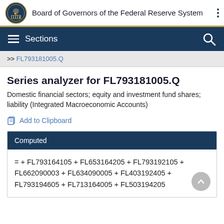Board of Governors of the Federal Reserve System
Sections
>> FL793181005.Q
Series analyzer for FL793181005.Q
Domestic financial sectors; equity and investment fund shares; liability (Integrated Macroeconomic Accounts)
Add to Clipboard
| Computed |
| --- |
| = + FL793164105 + FL653164205 + FL793192105 + FL662090003 + FL634090005 + FL403192405 + FL793194605 + FL713164005 + FL503194205 |